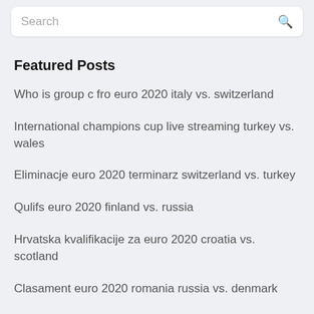Search
Featured Posts
Who is group c fro euro 2020 italy vs. switzerland
International champions cup live streaming turkey vs. wales
Eliminacje euro 2020 terminarz switzerland vs. turkey
Qulifs euro 2020 finland vs. russia
Hrvatska kvalifikacije za euro 2020 croatia vs. scotland
Clasament euro 2020 romania russia vs. denmark
Bigscoccer 2020 euro ticket czech republic vs. england